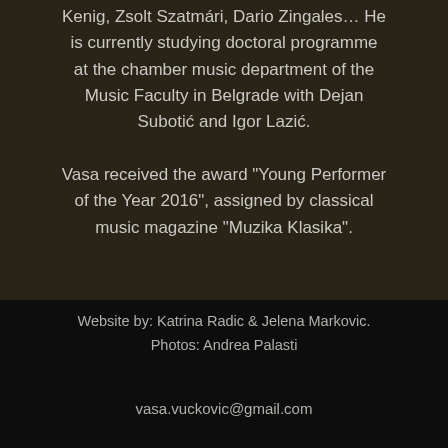Kenig, Zsolt Szatmári, Dario Zingales… He is currently studying doctoral programme at the chamber music department of the Music Faculty in Belgrade with Dejan Subotić and Igor Lazić.

Vasa received the award "Young Performer of the Year 2016", assigned by classical music magazine "Muzika Klasika".
Website by: Katrina Radic & Jelena Markovic.
Photos: Andrea Palasti
vasa.vuckovic@gmail.com